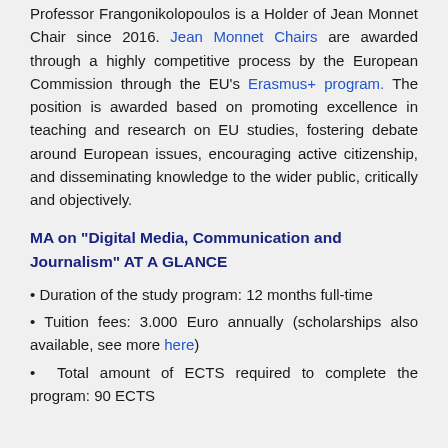Professor Frangonikolopoulos is a Holder of Jean Monnet Chair since 2016. Jean Monnet Chairs are awarded through a highly competitive process by the European Commission through the EU's Erasmus+ program. The position is awarded based on promoting excellence in teaching and research on EU studies, fostering debate around European issues, encouraging active citizenship, and disseminating knowledge to the wider public, critically and objectively.
MA on “Digital Media, Communication and Journalism” AT A GLANCE
Duration of the study program: 12 months full-time
Tuition fees: 3.000 Euro annually (scholarships also available, see more here)
Total amount of ECTS required to complete the program: 90 ECTS